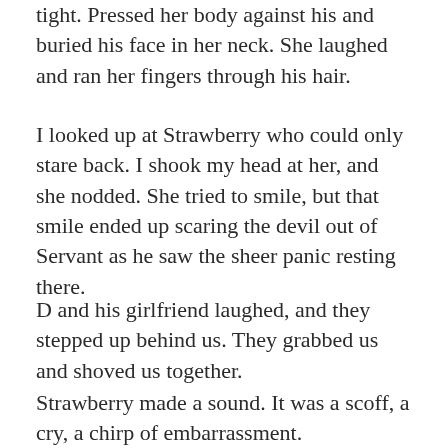tight. Pressed her body against his and buried his face in her neck. She laughed and ran her fingers through his hair.
I looked up at Strawberry who could only stare back. I shook my head at her, and she nodded. She tried to smile, but that smile ended up scaring the devil out of Servant as he saw the sheer panic resting there.
D and his girlfriend laughed, and they stepped up behind us. They grabbed us and shoved us together.
Strawberry made a sound. It was a scoff, a cry, a chirp of embarrassment.